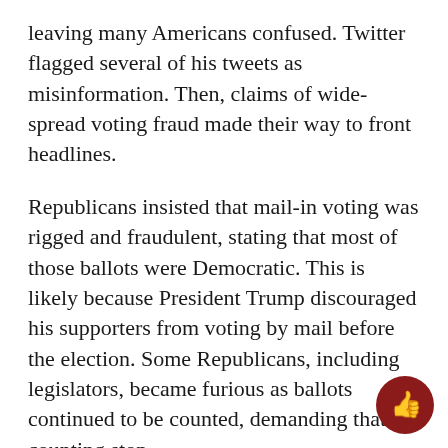leaving many Americans confused. Twitter flagged several of his tweets as misinformation. Then, claims of wide-spread voting fraud made their way to front headlines.
Republicans insisted that mail-in voting was rigged and fraudulent, stating that most of those ballots were Democratic. This is likely because President Trump discouraged his supporters from voting by mail before the election. Some Republicans, including legislators, became furious as ballots continued to be counted, demanding that the counting stop.
President Trump's team tried to file several lawsuits against various states, including Pennsylvania, Georgia, and Michigan, which were thrown out by judges due to lack of evidence.